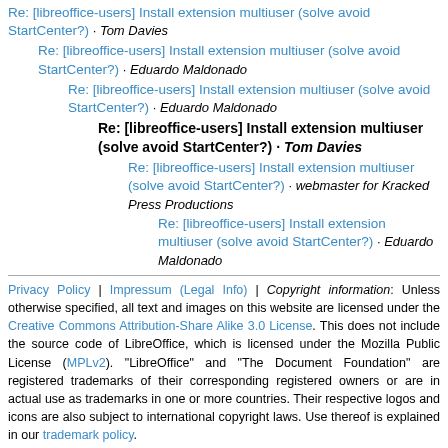Re: [libreoffice-users] Install extension multiuser (solve avoid StartCenter?) · Tom Davies
Re: [libreoffice-users] Install extension multiuser (solve avoid StartCenter?) · Eduardo Maldonado
Re: [libreoffice-users] Install extension multiuser (solve avoid StartCenter?) · Eduardo Maldonado
Re: [libreoffice-users] Install extension multiuser (solve avoid StartCenter?) · Tom Davies
Re: [libreoffice-users] Install extension multiuser (solve avoid StartCenter?) · webmaster for Kracked Press Productions
Re: [libreoffice-users] Install extension multiuser (solve avoid StartCenter?) · Eduardo Maldonado
Privacy Policy | Impressum (Legal Info) | Copyright information: Unless otherwise specified, all text and images on this website are licensed under the Creative Commons Attribution-Share Alike 3.0 License. This does not include the source code of LibreOffice, which is licensed under the Mozilla Public License (MPLv2). "LibreOffice" and "The Document Foundation" are registered trademarks of their corresponding registered owners or are in actual use as trademarks in one or more countries. Their respective logos and icons are also subject to international copyright laws. Use thereof is explained in our trademark policy.